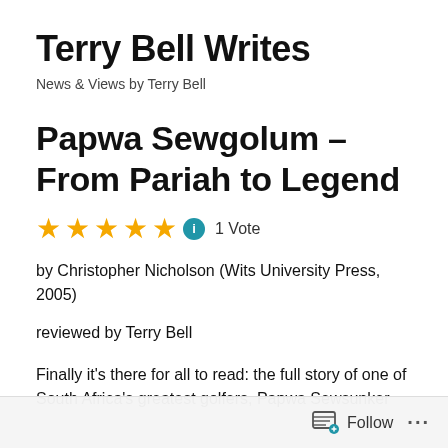Terry Bell Writes
News & Views by Terry Bell
Papwa Sewgolum – From Pariah to Legend
★★★★★ ℹ 1 Vote
by Christopher Nicholson (Wits University Press, 2005)
reviewed by Terry Bell
Finally it's there for all to read: the full story of one of South Africa's greatest golfers, Papwa Sewsunker
Follow ...